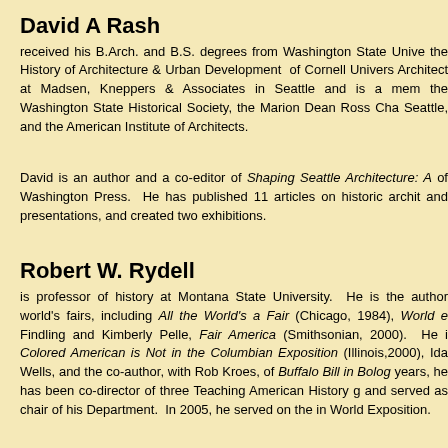David A Rash
received his B.Arch. and B.S. degrees from Washington State University, the History of Architecture & Urban Development of Cornell University, Architect at Madsen, Kneppers & Associates in Seattle and is a member of the Washington State Historical Society, the Marion Dean Ross Chapter in Seattle, and the American Institute of Architects.
David is an author and a co-editor of Shaping Seattle Architecture: A of Washington Press. He has published 11 articles on historic architecture and presentations, and created two exhibitions.
Robert W. Rydell
is professor of history at Montana State University. He is the author of world's fairs, including All the World's a Fair (Chicago, 1984), World e Findling and Kimberly Pelle, Fair America (Smithsonian, 2000). He is Colored American is Not in the Columbian Exposition (Illinois,2000), Ida Wells, and the co-author, with Rob Kroes, of Buffalo Bill in Bologna. years, he has been co-director of three Teaching American History grants and served as chair of his Department. In 2005, he served on the international World Exposition.
Sarah Nelson Smith
recently and reluctantly left her position as archivist at the National Archives to accept a position as Wife to her beloved new husband in the northern Archives, Sarah assisted many researchers with the Chinese Exclusion Act records, workshops on using NARA records for genealogy research, and presented chaired the 2007 Washington State Archives Month committee. Sara